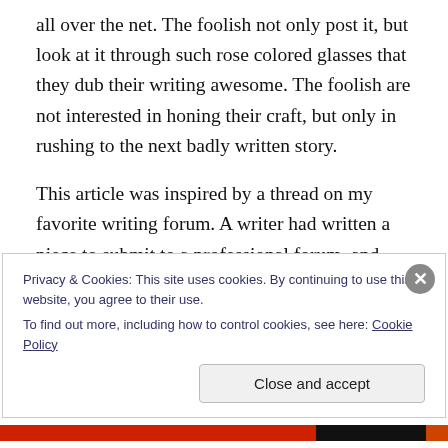all over the net. The foolish not only post it, but look at it through such rose colored glasses that they dub their writing awesome. The foolish are not interested in honing their craft, but only in rushing to the next badly written story.
This article was inspired by a thread on my favorite writing forum. A writer had written a piece to submit to a professional forum, and admitted that no one had ever seen their writing, nor were they interested in having the piece edited. They were so fierce about their belief that
Privacy & Cookies: This site uses cookies. By continuing to use this website, you agree to their use.
To find out more, including how to control cookies, see here: Cookie Policy